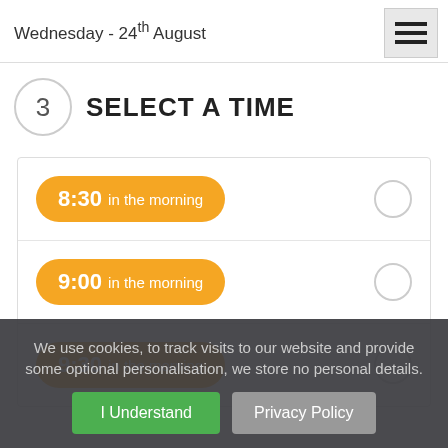Wednesday - 24th August
3   SELECT A TIME
8:30 in the morning
9:00 in the morning
9:30 in the morning
We use cookies, to track visits to our website and provide some optional personalisation, we store no personal details.
I Understand
Privacy Policy